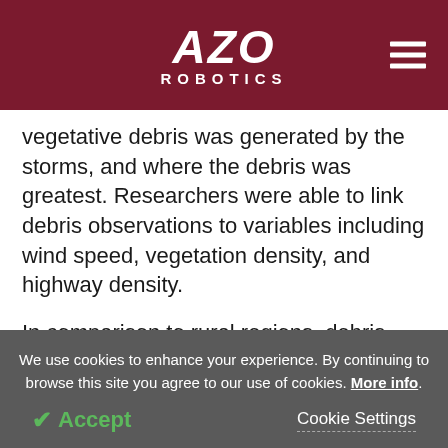AZO ROBOTICS
vegetative debris was generated by the storms, and where the debris was greatest. Researchers were able to link debris observations to variables including wind speed, vegetation density, and highway density.
In comparison to rural regions, debris was found to be heavier in suburban and urban areas, which have a high density of people and highways. Although vegetation is not the only sort of debris produced by
We use cookies to enhance your experience. By continuing to browse this site you agree to our use of cookies. More info.
Accept
Cookie Settings